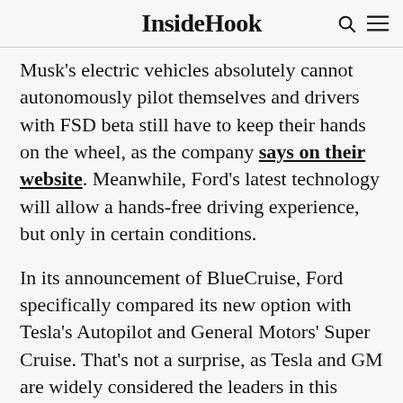InsideHook
Musk's electric vehicles absolutely cannot autonomously pilot themselves and drivers with FSD beta still have to keep their hands on the wheel, as the company says on their website. Meanwhile, Ford's latest technology will allow a hands-free driving experience, but only in certain conditions.
In its announcement of BlueCruise, Ford specifically compared its new option with Tesla's Autopilot and General Motors' Super Cruise. That's not a surprise, as Tesla and GM are widely considered the leaders in this space;